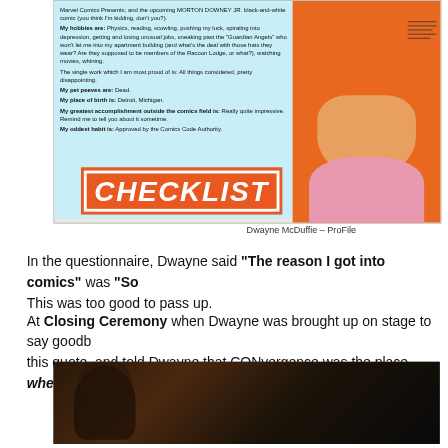[Figure (illustration): Comic book style illustration and bio page of Dwayne McDuffie showing a checklist/profile page with orange and blue coloring, featuring a caricature portrait and biographical text about hobbies, pet peeves, place of birth, and accomplishments. A large orange CHECKLIST banner appears at the bottom.]
Dwayne McDuffie – ProFile
In the questionnaire, Dwayne said "The reason I got into comics" was "So... This was too good to pass up.
At Closing Ceremony when Dwayne was brought up on stage to say goodb... this quote, and told Dwayne that CONvergence was the place where dream...
[Figure (photo): Dark photo of a person, appears to be at an event or conference setting]